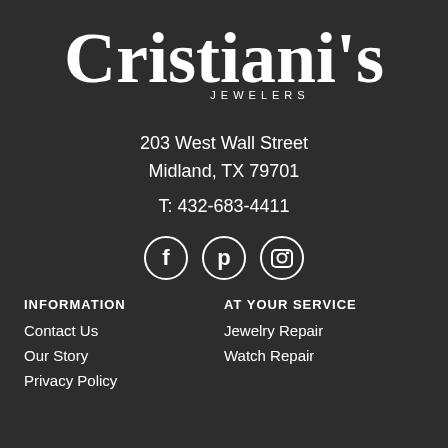[Figure (logo): Cristiani's Jewelers logo with cursive script text and 'JEWELERS' in small caps below]
203 West Wall Street
Midland, TX 79701
T: 432-683-4411
[Figure (illustration): Three social media icons in circles: Facebook (f), Pinterest (p), Instagram (camera)]
INFORMATION
AT YOUR SERVICE
Contact Us
Jewelry Repair
Our Story
Watch Repair
Privacy Policy